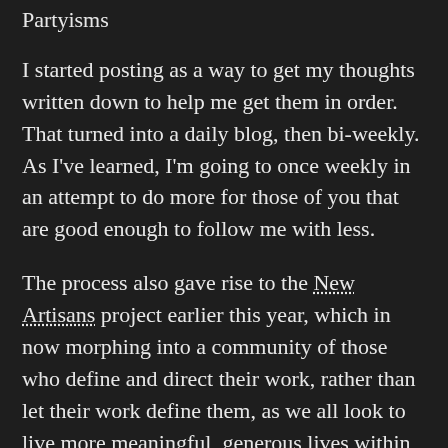Partyisms
I started posting as a way to get my thoughts written down to help me get them in order. That turned into a daily blog, then bi-weekly. As I've learned, I'm going to once weekly in an attempt to do more for those of you that are good enough to follow me with less.
The process also gave rise to the New Artisans project earlier this year, which in now morphing into a community of those who define and direct their work, rather than let their work define them, as we all look to live more meaningful, generous lives within the